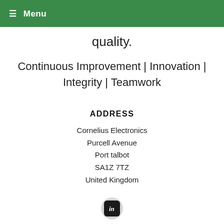☰ Menu
quality.
Continuous Improvement | Innovation | Integrity | Teamwork
ADDRESS
Cornelius Electronics
Purcell Avenue
Port talbot
SA1Z 7TZ
United Kingdom
[Figure (logo): LinkedIn icon in a grey circle]
VISIT WEBSITE
CONTACT EXHIBITOR